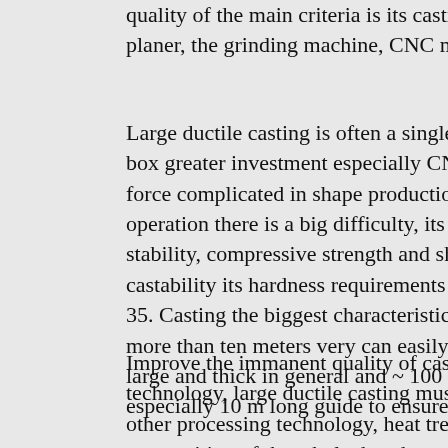quality of the main criteria is its casting process, large machine planer, the grinding machine, CNC machine tools, etc.
Large ductile casting is often a single small batch production box greater investment especially CNC machine tool bearing force complicated in shape production, sand core fastening operation there is a big difficulty, its material requirements stability, compressive strength and shock resistance good castability its hardness requirements 180241 HB hardness 35. Casting the biggest characteristic is to guide a long more than ten meters very can easily lead to bending deformation large and thick in general and ~ 100 mm guide easy to especially 10 m long guide to ensure that no hole blister
Improve the immanent quality of castings. Metal heat treatment technology, large ductile casting must after heat treatment other processing technology, heat treatment punish general composition of the whole, but through the change of the composition, gift or improve the performance, its characteristics